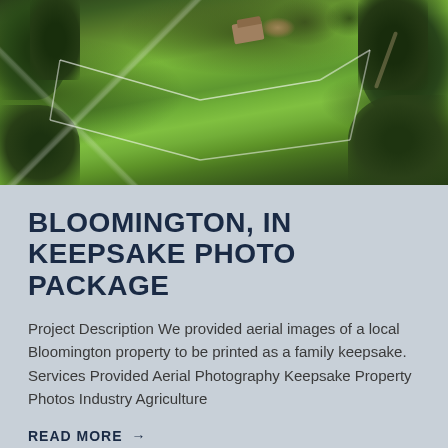[Figure (photo): Aerial drone photograph of a rural Bloomington property showing a green grass field with white fencing, a house with brown roof surrounded by trees, and woodland areas at the edges]
BLOOMINGTON, IN KEEPSAKE PHOTO PACKAGE
Project Description We provided aerial images of a local Bloomington property to be printed as a family keepsake. Services Provided Aerial Photography Keepsake Property Photos Industry Agriculture
READ MORE →